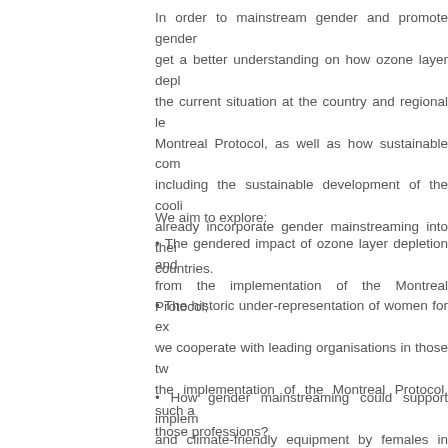In order to mainstream gender and promote gender get a better understanding on how ozone layer depl the current situation at the country and regional le Montreal Protocol, as well as how sustainable com including the sustainable development of the cooli already incorporate gender mainstreaming into thei countries.
We aim to explore:
The gendered impact of ozone layer depletion and from the implementation of the Montreal Protocol;
The historic under-representation of women for ex we cooperate with leading organisations in those tw the implementation of the Montreal Protocol, such a those professions?
How gender mainstreaming could support implem and climate-friendly equipment by females in societi
UNEP, in consultation with UN Women Regional Of gender mainstreaming to develop a guidebook/gui gender mainstreaming into national policies and awa